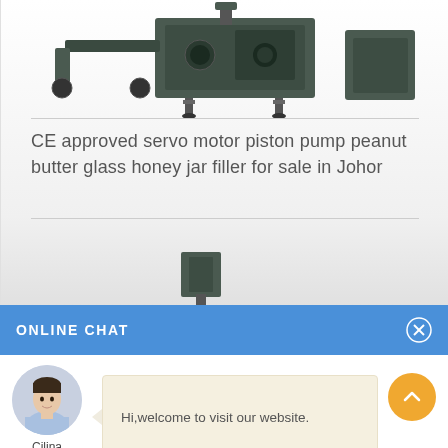[Figure (photo): Partial top view of an industrial servo motor piston pump peanut butter/honey jar filling machine, dark grey/green color, shown from the top portion only.]
CE approved servo motor piston pump peanut butter glass honey jar filler for sale in Johor
[Figure (photo): Partial bottom view of the same industrial filling machine, showing only the lower portion cut off at the bottom.]
ONLINE CHAT
Hi,welcome to visit our website.
Cilina